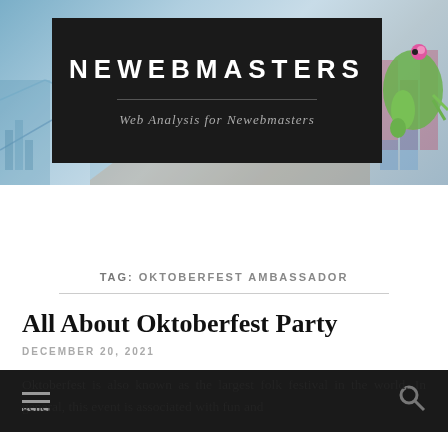[Figure (screenshot): Website header banner with charts/graphs background and a colorful chameleon figure on the right side, with a dark logo box overlay containing the site name and tagline.]
NEWEBMASTERS
Web Analysis for Newebmasters
TAG: OKTOBERFEST AMBASSADOR
All About Oktoberfest Party
DECEMBER 20, 2021
Oktoberfest is also known as the largest folk festival in the world. In general, this event is associated with fun and